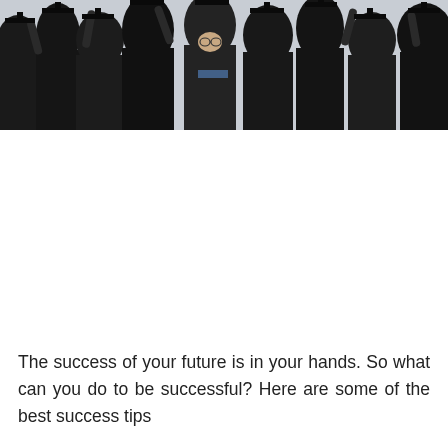[Figure (photo): A group of graduates in black robes and caps celebrating, looking upward, photographed from below against a light sky. The image is cropped to show primarily the upper portion of the group.]
The success of your future is in your hands. So what can you do to be successful? Here are some of the best success tips